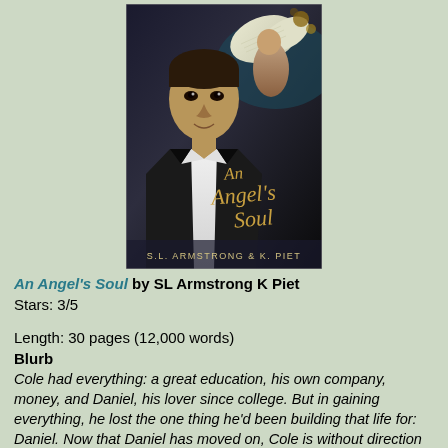[Figure (photo): Book cover for 'An Angel's Soul' by S.L. Armstrong & K. Piet, showing two men, one in a suit and one with wings, with golden script title text on a dark background]
An Angel's Soul by SL Armstrong K Piet
Stars: 3/5
Length: 30 pages (12,000 words)
Blurb
Cole had everything: a great education, his own company, money, and Daniel, his lover since college. But in gaining everything, he lost the one thing he'd been building that life for: Daniel. Now that Daniel has moved on, Cole is without direction or purpose. Turning to alcohol and drugs to fill the void left behind, Cole dives head first into a downward spiral